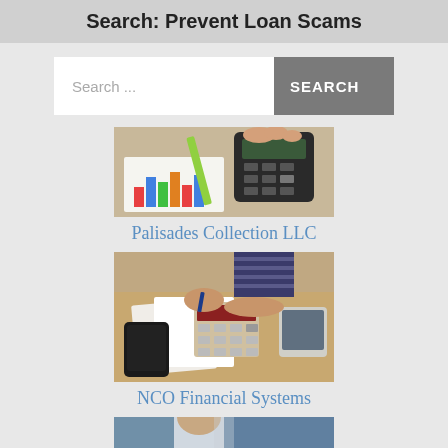Search: Prevent Loan Scams
[Figure (screenshot): Search bar with text 'Search ...' and a grey 'SEARCH' button]
[Figure (photo): Person using a calculator with colorful bar charts on desk]
Palisades Collection LLC
[Figure (photo): Person writing on paper next to a calculator and smartphone on a wooden desk]
NCO Financial Systems
[Figure (photo): Partial view of a person, bottom of page]